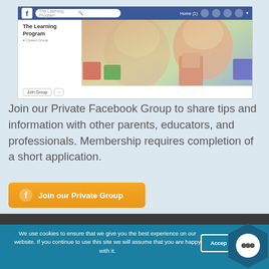[Figure (screenshot): Screenshot of a Facebook Group page for 'The Learning Program' showing the group's cover photo with children, a Join Group button, and Facebook navigation bar.]
Join our Private Facebook Group to share tips and information with other parents, educators, and professionals.  Membership requires completion of a short application.
[Figure (other): Orange button with Facebook icon labeled 'Join our Private Group']
We use cookies to ensure that we give you the best experience on our website. If you continue to use this site we will assume that you are happy with it.